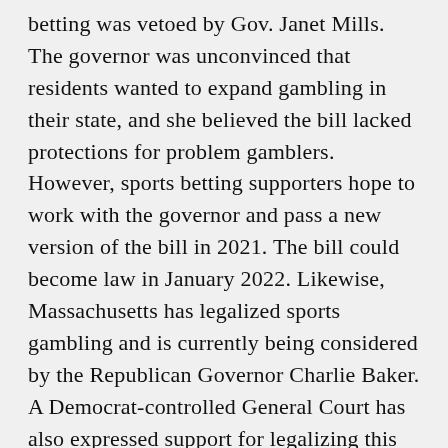betting was vetoed by Gov. Janet Mills. The governor was unconvinced that residents wanted to expand gambling in their state, and she believed the bill lacked protections for problem gamblers. However, sports betting supporters hope to work with the governor and pass a new version of the bill in 2021. The bill could become law in January 2022. Likewise, Massachusetts has legalized sports gambling and is currently being considered by the Republican Governor Charlie Baker. A Democrat-controlled General Court has also expressed support for legalizing this type of gambling, and the state has a number of casinos that are operating on the state's gaming laws.